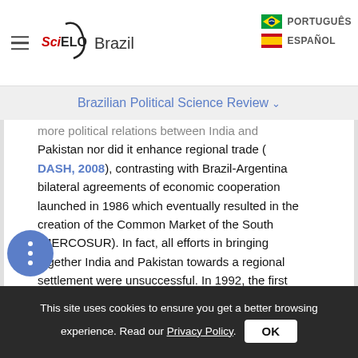[Figure (logo): SciELO Brazil logo with hamburger menu icon on the left and language buttons (PORTUGUÊS, ESPAÑOL) on the right]
Brazilian Political Science Review
more political relations between India and Pakistan nor did it enhance regional trade (DASH, 2008), contrasting with Brazil-Argentina bilateral agreements of economic cooperation launched in 1986 which eventually resulted in the creation of the Common Market of the South (MERCOSUR). In fact, all efforts in bringing together India and Pakistan towards a regional settlement were unsuccessful. In 1992, the first year after the fall of the Soviet Union, Russia joined the West in pressuring India to resign to its nuclear program (VOLODIN, 1996, p. 33). Also, in
This site uses cookies to ensure you get a better browsing experience. Read our Privacy Policy. OK